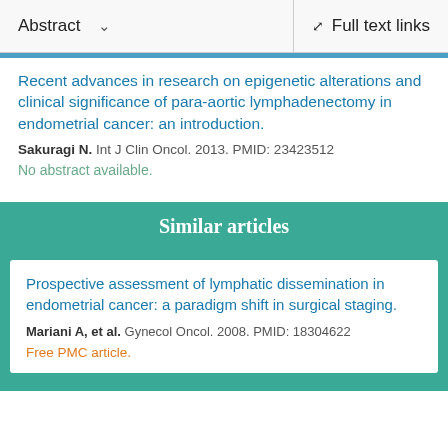Abstract  ∨    Full text links
Recent advances in research on epigenetic alterations and clinical significance of para-aortic lymphadenectomy in endometrial cancer: an introduction.
Sakuragi N. Int J Clin Oncol. 2013. PMID: 23423512
No abstract available.
Similar articles
Prospective assessment of lymphatic dissemination in endometrial cancer: a paradigm shift in surgical staging.
Mariani A, et al. Gynecol Oncol. 2008. PMID: 18304622
Free PMC article.